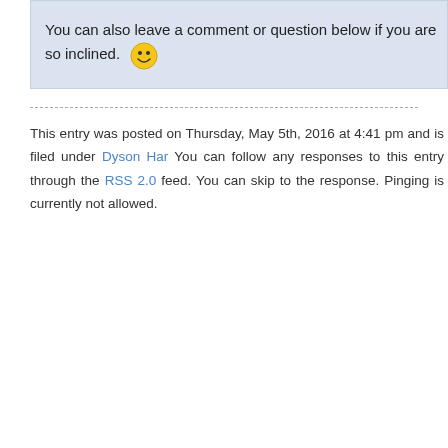You can also leave a comment or question below if you are so inclined. 😊
This entry was posted on Thursday, May 5th, 2016 at 4:41 pm and is filed under Dyson Har... You can follow any responses to this entry through the RSS 2.0 feed. You can skip to the... response. Pinging is currently not allowed.